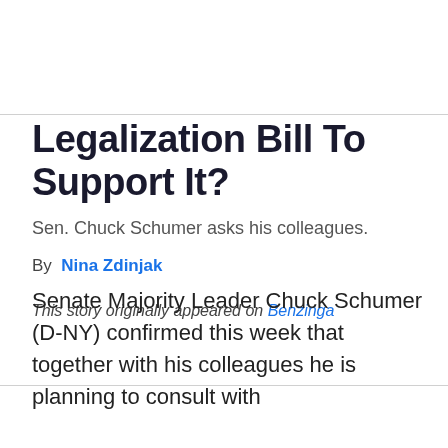Legalization Bill To Support It?
Sen. Chuck Schumer asks his colleagues.
By Nina Zdinjak
This story originally appeared on Benzinga
Senate Majority Leader Chuck Schumer (D-NY) confirmed this week that together with his colleagues he is planning to consult with